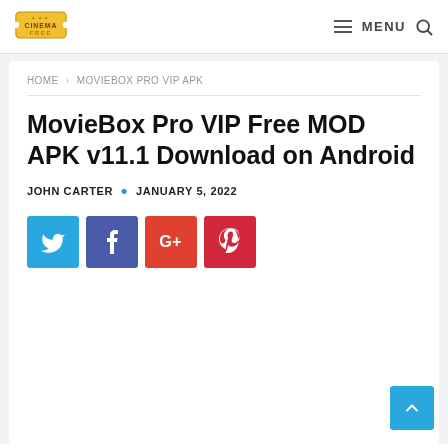[Figure (logo): Cinema Free logo — gold ticket with text CINEMA FREE]
≡ MENU 🔍
HOME › MOVIEBOX PRO VIP APK
MovieBox Pro VIP Free MOD APK v11.1 Download on Android
JOHN CARTER · JANUARY 5, 2022
[Figure (infographic): Social share buttons: Twitter (blue), Facebook (purple), Google+ (red), Pinterest (dark red)]